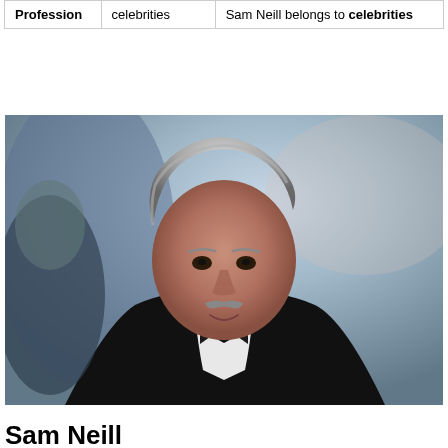| Profession | celebrities | Sam Neill belongs to celebrities |
[Figure (photo): Photo of Sam Neill, a man with grey hair and a mustache wearing a black tuxedo with bow tie, looking down slightly and smiling at a formal event.]
Sam Neill